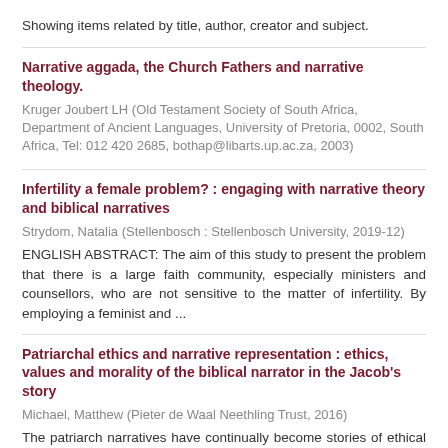Showing items related by title, author, creator and subject.
Narrative aggada, the Church Fathers and narrative theology.
Kruger Joubert LH (Old Testament Society of South Africa, Department of Ancient Languages, University of Pretoria, 0002, South Africa, Tel: 012 420 2685, bothap@libarts.up.ac.za, 2003)
Infertility a female problem? : engaging with narrative theory and biblical narratives
Strydom, Natalia (Stellenbosch : Stellenbosch University, 2019-12)
ENGLISH ABSTRACT: The aim of this study to present the problem that there is a large faith community, especially ministers and counsellors, who are not sensitive to the matter of infertility. By employing a feminist and ...
Patriarchal ethics and narrative representation : ethics, values and morality of the biblical narrator in the Jacob's story
Michael, Matthew (Pieter de Waal Neethling Trust, 2016)
The patriarch narratives have continually become stories of ethical embarrassment to the modern readers because of the participation and support of the patriarchs for unethical practices which directly undermine the ...